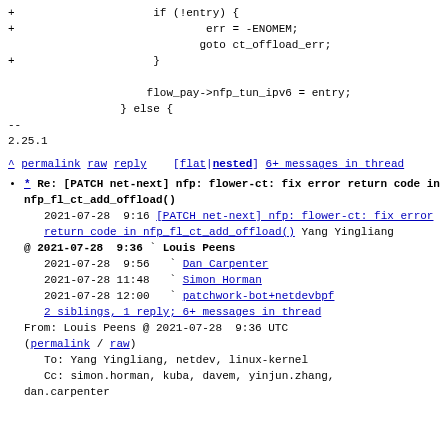+                     if (!entry) {
+                             err = -ENOMEM;
                             goto ct_offload_err;
+                     }

                     flow_pay->nfp_tun_ipv6 = entry;
                 } else {
--
2.25.1
^ permalink raw reply   [flat|nested] 6+ messages in thread
* Re: [PATCH net-next] nfp: flower-ct: fix error return code in nfp_fl_ct_add_offload()
2021-07-28  9:16 [PATCH net-next] nfp: flower-ct: fix error return code in nfp_fl_ct_add_offload() Yang Yingliang
@ 2021-07-28  9:36   Louis Peens
  2021-07-28  9:56     Dan Carpenter
  2021-07-28 11:48     Simon Horman
  2021-07-28 12:00     patchwork-bot+netdevbpf
  2 siblings, 1 reply; 6+ messages in thread
From: Louis Peens @ 2021-07-28  9:36 UTC
(permalink / raw)
To: Yang Yingliang, netdev, linux-kernel
Cc: simon.horman, kuba, davem, yinjun.zhang, dan.carpenter